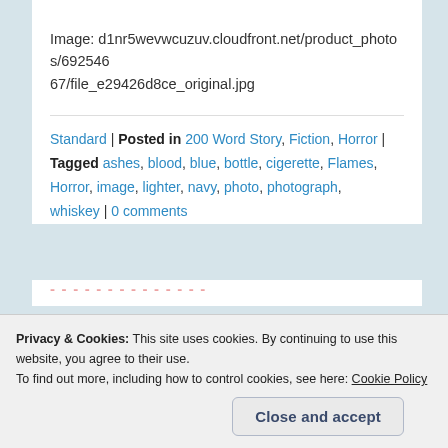Image: d1nr5wevwcuzuv.cloudfront.net/product_photos/69254667/file_e29426d8ce_original.jpg
Standard | Posted in 200 Word Story, Fiction, Horror | Tagged ashes, blood, blue, bottle, cigerette, Flames, Horror, image, lighter, navy, photo, photograph, whiskey | 0 comments
Privacy & Cookies: This site uses cookies. By continuing to use this website, you agree to their use. To find out more, including how to control cookies, see here: Cookie Policy
Close and accept